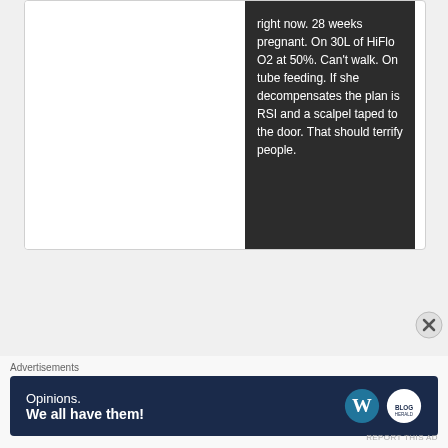[Figure (screenshot): A dark chat bubble with white text describing a medical scenario: a patient who is 28 weeks pregnant, on 30L of HiFlo O2 at 50%, can't walk, on tube feeding, with plan for RSI and a scalpel taped to the door if she decompensates.]
- All Posts -
[Figure (screenshot): A dropdown select box labeled 'Select Month' with a dropdown arrow, for filtering posts by month.]
Advertisements
[Figure (screenshot): Advertisement banner with dark navy background showing 'Opinions. We all have them!' text with WordPress logo and another circular logo on the right.]